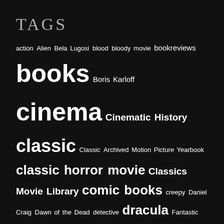TAGS
action Alien Bela Lugosi blood bloody movie bookreviews books Boris Karloff cinema Cinematic History classic Classic Archived Motion Picture Yearbook classic horror movie Classics Movie Library comic books creepy Daniel Craig Dawn of the Dead detective dracula Fantastic Four frankenstein Friday the 13th Geektoberfest genre classification George Romero ghosts gore gory Halloween horrific horrifying horror Horror Hall of Fame horror movies ian fleming It James Bond James Whale John Carpenter Marvel masterpiece monster movie reviews movies murder music mysteries mystery Psycho psychological Roman Polanski scary